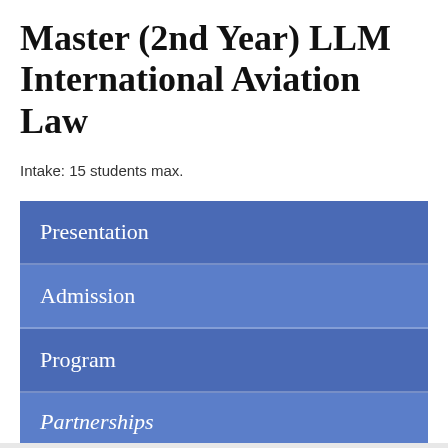Master (2nd Year) LLM International Aviation Law
Intake: 15 students max.
Presentation
Admission
Program
Partnerships
En appuyant sur le bouton "j'accepte" vous nous autorisez à déposer des cookies afin de mesurer l'audience de notre site. Ces données sont à notre seul usage et ne sont pas communiquées.
Consultez notre politique relative aux cookies
J'ACCEPTE   JE REFUSE